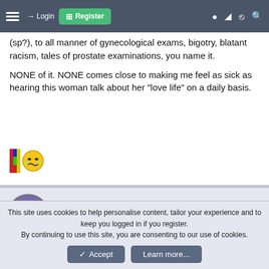Login | Register
(sp?), to all manner of gynecological exams, bigotry, blatant racism, tales of prostate examinations, you name it.

NONE of it. NONE comes close to making me feel as sick as hearing this woman talk about her "love life" on a daily basis.
[Figure (illustration): Pixel-art icon and a yellow sick/nauseated emoji face]
Nigel Tufnel
Footballguy
This site uses cookies to help personalise content, tailor your experience and to keep you logged in if you register.
By continuing to use this site, you are consenting to our use of cookies.